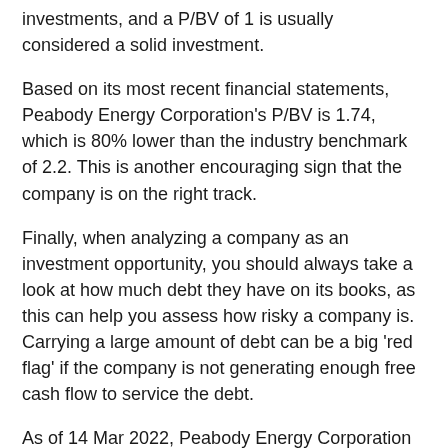investments, and a P/BV of 1 is usually considered a solid investment.
Based on its most recent financial statements, Peabody Energy Corporation's P/BV is 1.74, which is 80% lower than the industry benchmark of 2.2. This is another encouraging sign that the company is on the right track.
Finally, when analyzing a company as an investment opportunity, you should always take a look at how much debt they have on its books, as this can help you assess how risky a company is. Carrying a large amount of debt can be a big 'red flag' if the company is not generating enough free cash flow to service the debt.
As of 14 Mar 2022, Peabody Energy Corporation has total debt of $1181M, which has fallen by 27% over the past year, and it also has Cash & Short-Term Investments totaling $954M on hand, giving the company a 'net debt' of